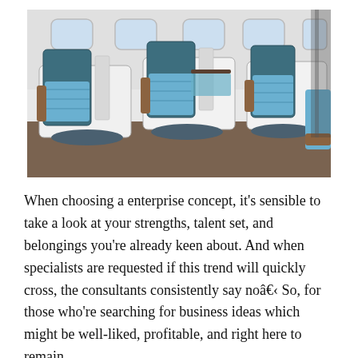[Figure (photo): Interior of an airplane cabin showing business class seats. The seats are white and dark teal/blue with brown armrests, arranged in rows. Aircraft windows are visible in the background. The cabin floor is covered with brown carpet.]
When choosing a enterprise concept, it's sensible to take a look at your strengths, talent set, and belongings you're already keen about. And when specialists are requested if this trend will quickly cross, the consultants consistently say noâ€ So, for those who're searching for business ideas which might be well-liked, profitable, and right here to remain